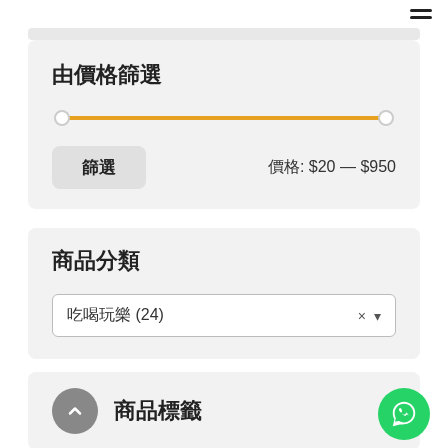[Figure (screenshot): Hamburger menu icon (three horizontal lines) in top right corner]
由價格篩選
[Figure (infographic): Price range slider with orange track, left thumb at minimum, right thumb at maximum]
篩選
價格: $20 — $950
商品分類
吃喝玩樂 (24)
商品標籤
[Figure (infographic): Back to top circular grey button with upward chevron arrow]
[Figure (infographic): WhatsApp green circular button with chat bubble icon]